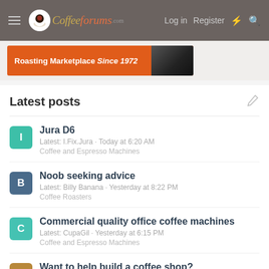CoffeeForums.com — Log in  Register
[Figure (other): Advertisement banner: Roasting Marketplace Since 1972 with coffee image on orange background]
Latest posts
Jura D6 — Latest: I.Fix.Jura · Today at 6:20 AM — Coffee and Espresso Machines
Noob seeking advice — Latest: Billy Banana · Yesterday at 8:22 PM — Coffee Roasters
Commercial quality office coffee machines — Latest: CupaGil · Yesterday at 6:15 PM — Coffee and Espresso Machines
Want to help build a coffee shop?